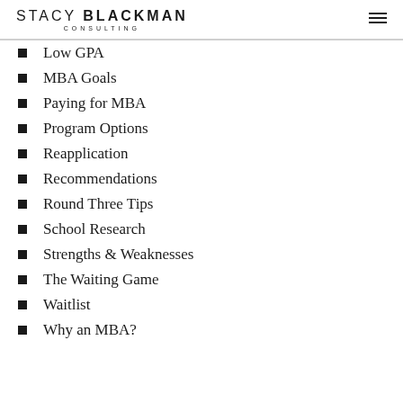STACY BLACKMAN CONSULTING
Low GPA
MBA Goals
Paying for MBA
Program Options
Reapplication
Recommendations
Round Three Tips
School Research
Strengths & Weaknesses
The Waiting Game
Waitlist
Why an MBA?